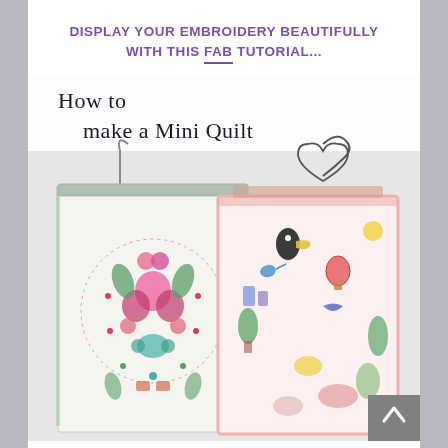DISPLAY YOUR EMBROIDERY BEAUTIFULLY WITH THIS FAB TUTORIAL...
[Figure (photo): Photo showing two mini quilts hanging on wire hangers. The left quilt features floral embroidery in pinks, greens, and teals arranged in a circular pattern. The right quilt features colorful embroidered scenes with a toucan, hot air balloons, birds, and garden motifs. Text overlay reads 'How to make a Mini Quilt'.]